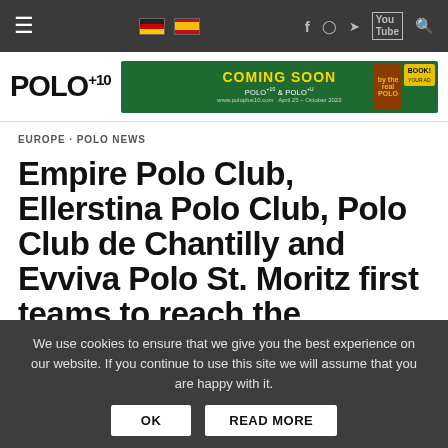≡  🇩🇪 🇪🇸  f  ◎  🐦  ▶  🔍
[Figure (logo): POLO+10 magazine logo with superscript +10]
[Figure (infographic): Coming Soon advertisement banner for POLO+10 & POLO magazine]
EUROPE · POLO NEWS
Empire Polo Club, Ellerstina Polo Club, Polo Club de Chantilly and Evviva Polo St. Moritz first teams to reach the Quarterfinals for the POLO RIDER CUP
We use cookies to ensure that we give you the best experience on our website. If you continue to use this site we will assume that you are happy with it.